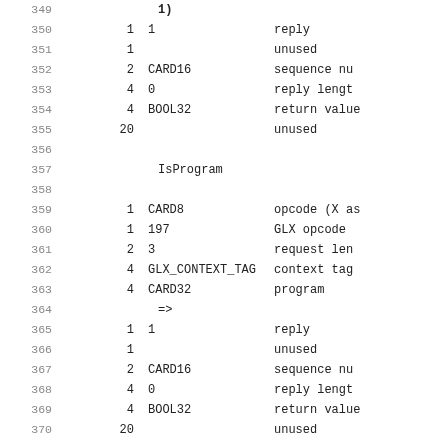| line | col1 | col2 | col3 |
| --- | --- | --- | --- |
| 349 |  | 1) |  |
| 350 | 1 | 1 | reply |
| 351 | 1 |  | unused |
| 352 | 2 | CARD16 | sequence nu... |
| 353 | 4 | 0 | reply length |
| 354 | 4 | BOOL32 | return value |
| 355 | 20 |  | unused |
| 356 |  |  |  |
| 357 |  | IsProgram |  |
| 358 |  |  |  |
| 359 | 1 | CARD8 | opcode (X as... |
| 360 | 1 | 197 | GLX opcode |
| 361 | 2 | 3 | request len... |
| 362 | 4 | GLX_CONTEXT_TAG | context tag |
| 363 | 4 | CARD32 | program |
| 364 |  | => |  |
| 365 | 1 | 1 | reply |
| 366 | 1 |  | unused |
| 367 | 2 | CARD16 | sequence nu... |
| 368 | 4 | 0 | reply length |
| 369 | 4 | BOOL32 | return value |
| 370 | 20 |  | unused |